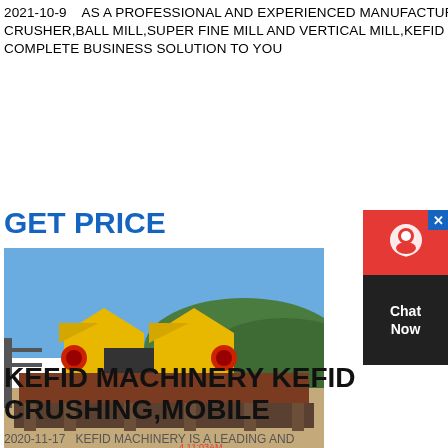2021-10-9    AS A PROFESSIONAL AND EXPERIENCED MANUFACTURER OF MOBILE CRUSHER,JAW CRUSHER,CONE CRUSHER,IMPACT CRUSHER,BALL MILL,SUPER FINE MILL AND VERTICAL MILL,KEFID NOT ONLY PROVIDE OUTSTANDING QUALITY MACHINE,BUT ALSO OFFER COMPLETE BUSINESS SOLUTION TO YOU
GET PRICE
[Figure (photo): Industrial mobile crusher machinery with yellow crushing units on a steel frame platform, outdoor setting with blue sky and green hills in background. Timestamp: 4 11:03AM]
KEFID MACHINERY KEFID CRUSHING,MOBILE
2020-11-17   KEFID MACHINERY IS A LEADING AND